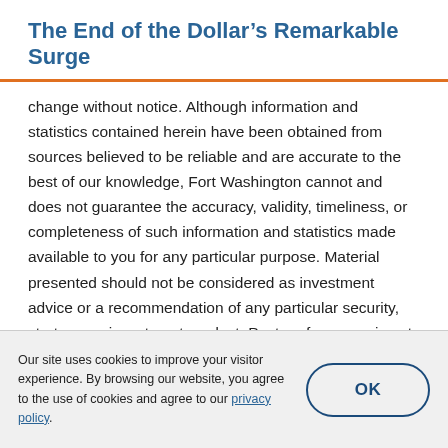The End of the Dollar's Remarkable Surge
change without notice. Although information and statistics contained herein have been obtained from sources believed to be reliable and are accurate to the best of our knowledge, Fort Washington cannot and does not guarantee the accuracy, validity, timeliness, or completeness of such information and statistics made available to you for any particular purpose. Material presented should not be considered as investment advice or a recommendation of any particular security, strategy, or investment product. Past performance is not
Our site uses cookies to improve your visitor experience. By browsing our website, you agree to the use of cookies and agree to our privacy policy.